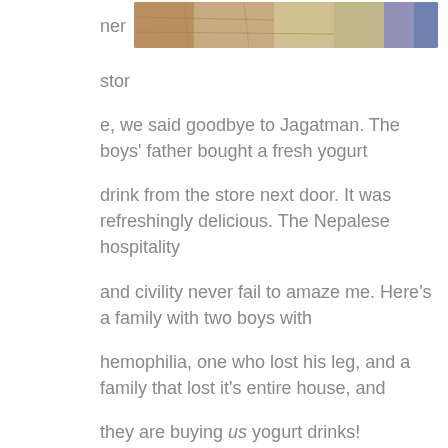[Figure (photo): Partial photo showing stone ground and people, cropped at top of page]
ner stor e, we said goodbye to Jagatman. The boys' father bought a fresh yogurt drink from the store next door. It was refreshingly delicious. The Nepalese hospitality and civility never fail to amaze me. Here's a family with two boys with hemophilia, one who lost his leg, and a family that lost it's entire house, and they are buying us yogurt drinks!

We are thoroughly exhausted when we drive back. Jess is the first to fall asleep in the van, then Chris. It's emotionally draining to visit, view and hear the stories of loss, and wonder how these families find the faith, will and